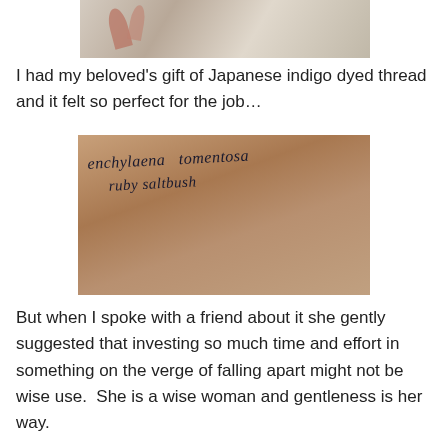[Figure (photo): Top portion of a fabric/quilt with leaf/floral pattern visible in brown and white tones]
I had my beloved's gift of Japanese indigo dyed thread and it felt so perfect for the job…
[Figure (photo): A piece of woven fabric with handwritten text in dark thread/ink reading: 'enchylaena tomentosa ruby saltbush']
But when I spoke with a friend about it she gently suggested that investing so much time and effort in something on the verge of falling apart might not be wise use.  She is a wise woman and gentleness is her way.